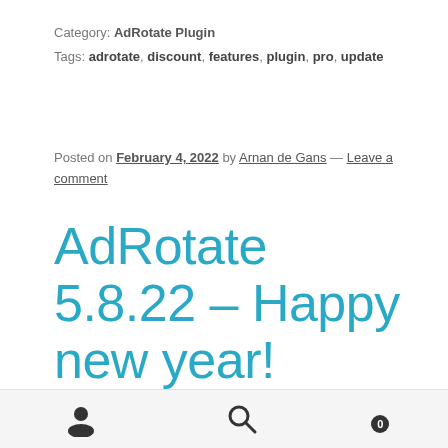Category: AdRotate Plugin
Tags: adrotate, discount, features, plugin, pro, update
Posted on February 4, 2022 by Arnan de Gans — Leave a comment
AdRotate 5.8.22 – Happy new year!
[Figure (logo): AdRotate plugin banner with teal background and green Ad logo box]
User icon, Search icon, Cart icon with badge 0